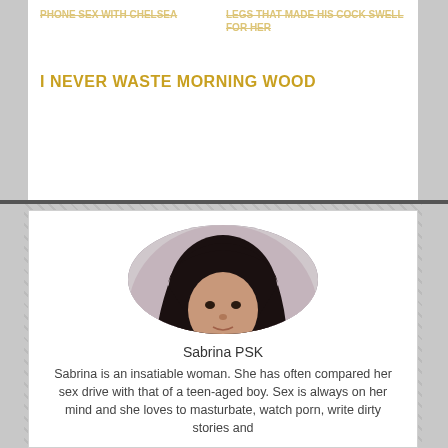I NEVER WASTE MORNING WOOD
Sabrina PSK
Sabrina is an insatiable woman. She has often compared her sex drive with that of a teen-aged boy. Sex is always on her mind and she loves to masturbate, watch porn, write dirty stories and